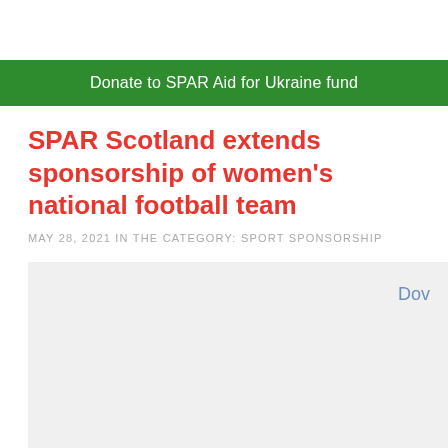Donate to SPAR Aid for Ukraine fund
SPAR Scotland extends sponsorship of women's national football team
MAY 28, 2021 IN THE CATEGORY: SPORT SPONSORSHIP
[Figure (photo): Gray placeholder image area with partial text 'Dow' visible in blue at top right]